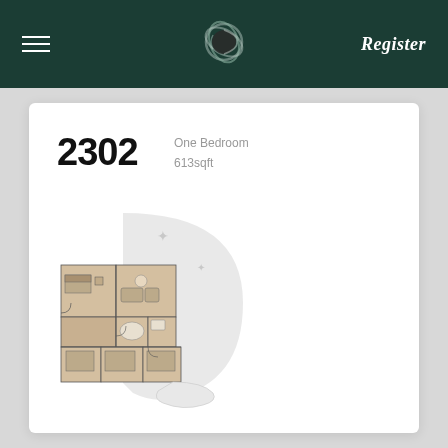Register
2302
One Bedroom
613sqft
[Figure (illustration): Architectural floor plan of unit 2302, a one bedroom unit of 613sqft, showing rooms in beige/tan tones with a curved terrace/balcony area in light grey. Rooms include bedroom, bathroom, living area, kitchen, and additional spaces arranged in an L-shape with curved outdoor terrace.]